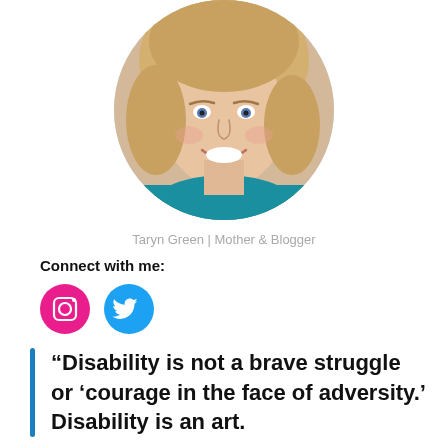[Figure (photo): Circular cropped portrait photo of a smiling blonde woman wearing a blue top, shown from shoulders up.]
Taryn Green | Mother & Blogger
Connect with me:
[Figure (illustration): Two social media icon circles: pink Instagram icon and blue Twitter icon.]
“Disability is not a brave struggle or ‘courage in the face of adversity.’ Disability is an art.